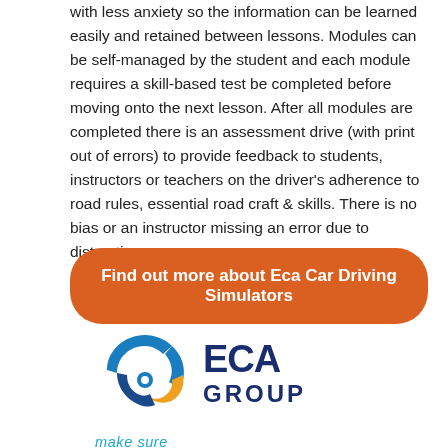with less anxiety so the information can be learned easily and retained between lessons. Modules can be self-managed by the student and each module requires a skill-based test be completed before moving onto the next lesson. After all modules are completed there is an assessment drive (with print out of errors) to provide feedback to students, instructors or teachers on the driver's adherence to road rules, essential road craft & skills. There is no bias or an instructor missing an error due to distraction.
Find out more about Eca Car Driving Simulators
[Figure (logo): ECA Group logo with circular swoosh icon in blue, white, and orange, with text 'ECA GROUP' in dark blue and tagline 'make sure' in light blue italic below]